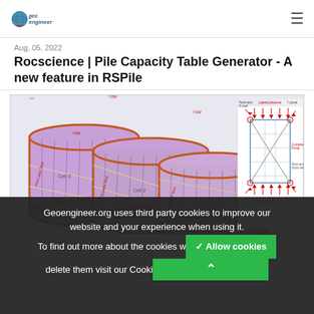geo engineer [logo] ≡
Aug, 05, 2022
Rocscience | Pile Capacity Table Generator - A new feature in RSPile
[Figure (engineering-diagram): 3D illustration of cellular pile structure with cells labeled Cell 1, Cell 2, Cell 3, with labels Y1W, Y2W, Y3W, First Layer Strut, Capping Beam visible on the left; and a structural diagram showing lateral pressure, compressive force, lateral pressure arrows around a rectangular frame on the right.]
Geoengineer.org uses third party cookies to improve our website and your experience when using it. To find out more about the cookies w... delete them visit our Cooki...
✓ Allow cookies